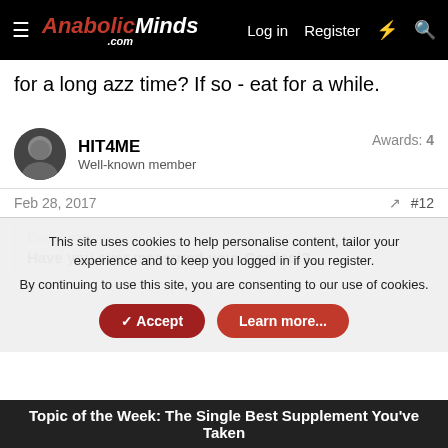AnabolicMinds.com — Log in | Register
for a long azz time? If so - eat for a while.
HIT4ME
Well-known member
Awards: 4
Feb 28, 2017  #12
Danes said:
Have you ever measured your Cortisol?
This site uses cookies to help personalise content, tailor your experience and to keep you logged in if you register.
By continuing to use this site, you are consenting to our use of cookies.
Accept  Learn more...
Topic of the Week: The Single Best Supplement You've Taken